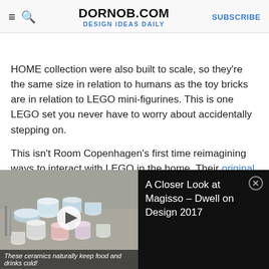DORNOB.COM | DESIGN IDEAS DAILY | SUBSCRIBE
HOME collection were also built to scale, so they're the same size in relation to humans as the toy bricks are in relation to LEGO mini-figurines. This is one LEGO set you never have to worry about accidentally stepping on.
This isn't Room Copenhagen's first time reimagining ways to interact with LEGO in the home. Their original LEGO collection also consists of life-size LEGO bricks serving as toy chests, mini-fig display cases, storage racks, desk drawers, wall shelves, and more. But that collection is geared towards kids, more closely resembling the original toys, whereas the new HOME collection is a
[Figure (screenshot): Video overlay showing ceramic cups/bowls on a wooden surface with a play button, captioned 'These ceramics naturally keep food and drinks cold!' alongside a dark panel titled 'A Closer Look at Magisso - Dwell on Design 2017' with a close button.]